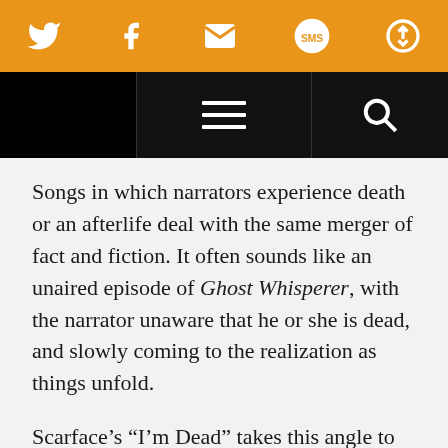Twitter, Facebook, Email, SMS, Share icons — social sharing bar
[Figure (screenshot): Navigation bar with hamburger menu and search icon on black background]
Songs in which narrators experience death or an afterlife deal with the same merger of fact and fiction. It often sounds like an unaired episode of Ghost Whisperer, with the narrator unaware that he or she is dead, and slowly coming to the realization as things unfold.
Scarface’s “I’m Dead” takes this angle to perfection. In it, Scarface wakes up to the sound of